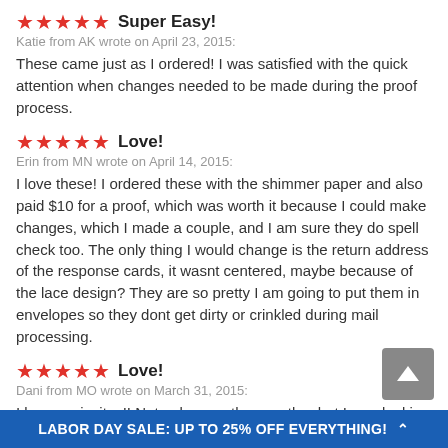Super Easy! — Katie from AK wrote on April 23, 2015: These came just as I ordered! I was satisfied with the quick attention when changes needed to be made during the proof process.
Love! — Erin from MN wrote on April 14, 2015: I love these! I ordered these with the shimmer paper and also paid $10 for a proof, which was worth it because I could make changes, which I made a couple, and I am sure they do spell check too. The only thing I would change is the return address of the response cards, it wasnt centered, maybe because of the lace design? They are so pretty I am going to put them in envelopes so they dont get dirty or crinkled during mail processing.
Love! — Dani from MO wrote on March 31, 2015: I love my invites!! Not only were the exactly what I was looking for they were also cheaper than any other invites I looked at from other places, and they got to my house in 4 days!! I
LABOR DAY SALE: UP TO 25% OFF EVERYTHING!